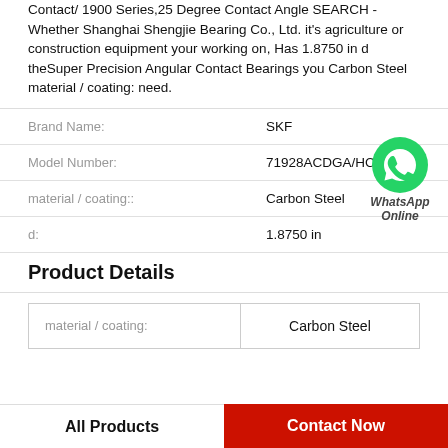Contact/ 1900 Series,25 Degree Contact Angle SEARCH - Whether Shanghai Shengjie Bearing Co., Ltd. it's agriculture or construction equipment your working on, Has 1.8750 in d theSuper Precision Angular Contact Bearings you Carbon Steel material / coating: need.
| Field | Value |
| --- | --- |
| Brand Name: | SKF |
| Model Number: | 71928ACDGA/HCP4A |
| material / coating:: | Carbon Steel |
| d: | 1.8750 in |
Product Details
| material / coating: | Carbon Steel |
| --- | --- |
All Products | Contact Now